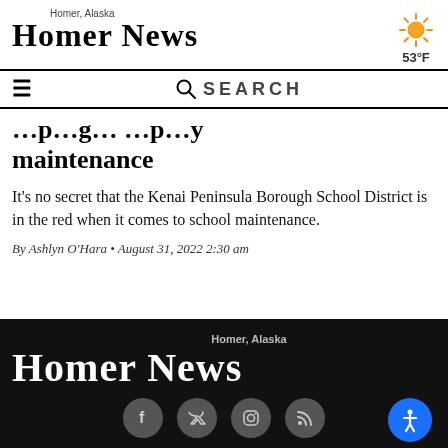Homer News — Homer, Alaska — 53°F
maintenance
It's no secret that the Kenai Peninsula Borough School District is in the red when it comes to school maintenance.
By Ashlyn O'Hara • August 31, 2022 2:30 am
Homer News — Homer, Alaska — Footer with social icons